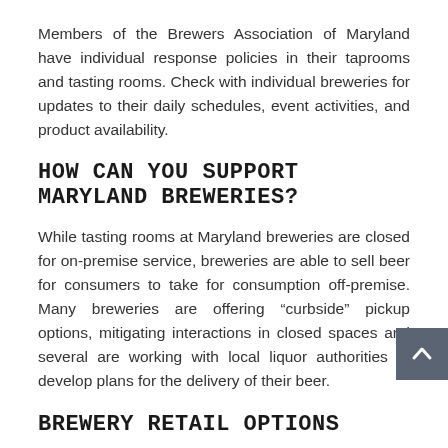Members of the Brewers Association of Maryland have individual response policies in their taprooms and tasting rooms. Check with individual breweries for updates to their daily schedules, event activities, and product availability.
HOW CAN YOU SUPPORT MARYLAND BREWERIES?
While tasting rooms at Maryland breweries are closed for on-premise service, breweries are able to sell beer for consumers to take for consumption off-premise. Many breweries are offering “curbside” pickup options, mitigating interactions in closed spaces and several are working with local liquor authorities to develop plans for the delivery of their beer.
BREWERY RETAIL OPTIONS